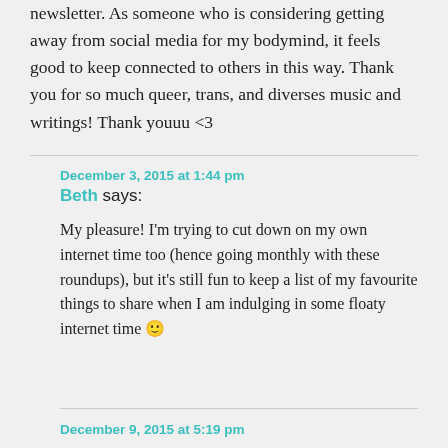newsletter. As someone who is considering getting away from social media for my bodymind, it feels good to keep connected to others in this way. Thank you for so much queer, trans, and diverses music and writings! Thank youuu <3
December 3, 2015 at 1:44 pm
Beth says:
My pleasure! I'm trying to cut down on my own internet time too (hence going monthly with these roundups), but it's still fun to keep a list of my favourite things to share when I am indulging in some floaty internet time 🙂
December 9, 2015 at 5:19 pm